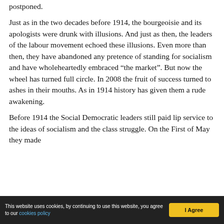postponed.
Just as in the two decades before 1914, the bourgeoisie and its apologists were drunk with illusions. And just as then, the leaders of the labour movement echoed these illusions. Even more than then, they have abandoned any pretence of standing for socialism and have wholeheartedly embraced “the market”. But now the wheel has turned full circle. In 2008 the fruit of success turned to ashes in their mouths. As in 1914 history has given them a rude awakening.
Before 1914 the Social Democratic leaders still paid lip service to the ideas of socialism and the class struggle. On the First of May they made
This website uses cookies, by continuing to use this website, you agree to our cookies policy  I Agree